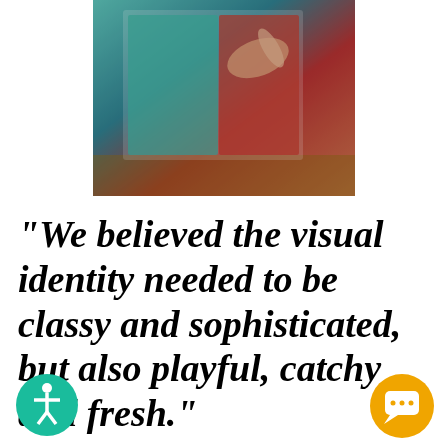[Figure (photo): A person holding or browsing through a printed brochure/booklet with colorful design (teal, red, white) on a wooden surface.]
"We believed the visual identity needed to be classy and sophisticated, but also playful, catchy and fresh."